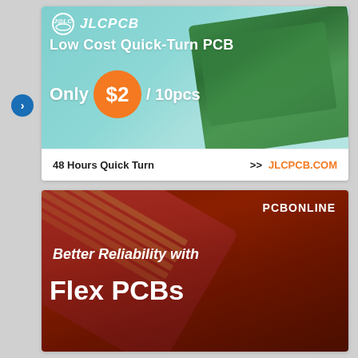[Figure (advertisement): JLCPCB advertisement banner: teal/cyan background with green PCB boards shown at right. Logo 'J@LC JLCPCB' at top left. Text: 'Low Cost Quick-Turn PCB', 'Only $2 / 10pcs' with $2 in orange circle. Bottom white strip: '48 Hours Quick Turn >> JLCPCB.COM']
[Figure (advertisement): PCBONLINE advertisement banner: dark brown/maroon background with flex PCB ribbon cables shown. Brand name 'PCBONLINE' at top right. Text: 'Better Reliability with Flex PCBs' in white bold font.]